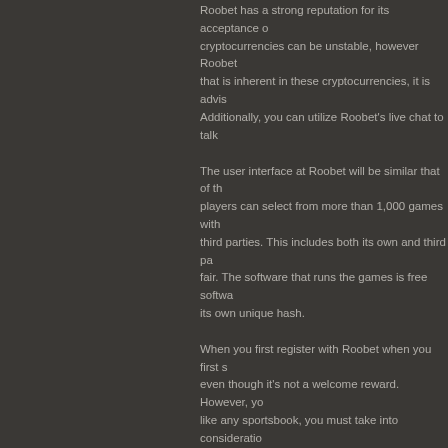Roobet has a strong reputation for its acceptance of cryptocurrencies can be unstable, however Roobet that is inherent in these cryptocurrencies, it is advis Additionally, you can utilize Roobet's live chat to talk
The user interface at Roobet will be similar that of th players can select from more than 1,000 games with third parties. This includes both its own and third pa fair. The software that runs the games is free softwa its own unique hash.
When you first register with Roobet when you first s even though it's not a welcome reward. However, yo like any sportsbook, you must take into consideratio
If you're into eSports, Roobet bitcoin sportsbook offe events you can watch and bet on. As Blizzard has b offering support to the game range of matches to wa features just a few Major competitions every year th GTBet
If you are new to trading in sports on cryptocurrency bet on NFL games and other renowned sporting ev